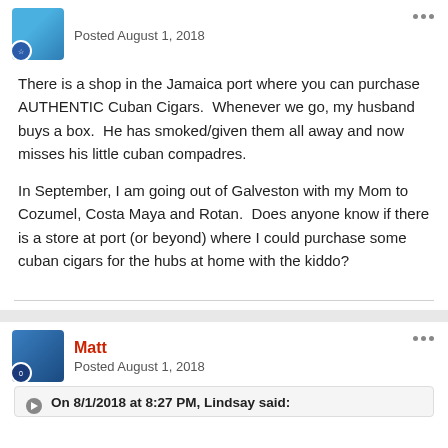Posted August 1, 2018
There is a shop in the Jamaica port where you can purchase AUTHENTIC Cuban Cigars.  Whenever we go, my husband buys a box.  He has smoked/given them all away and now misses his little cuban compadres.
In September, I am going out of Galveston with my Mom to Cozumel, Costa Maya and Rotan.  Does anyone know if there is a store at port (or beyond) where I could purchase some cuban cigars for the hubs at home with the kiddo?
Matt
Posted August 1, 2018
On 8/1/2018 at 8:27 PM, Lindsay said: